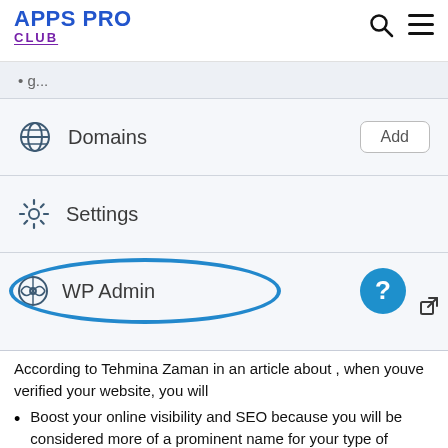APPS PRO CLUB
[Figure (screenshot): WordPress.com dashboard menu showing Domains (with Add button), Settings, and WP Admin (circled in blue) menu items. A blue question mark help circle and external link icon appear on the right side of WP Admin row.]
According to Tehmina Zaman in an article about , when youve verified your website, you will
Boost your online visibility and SEO because you will be considered more of a prominent name for your type of content by search engines.